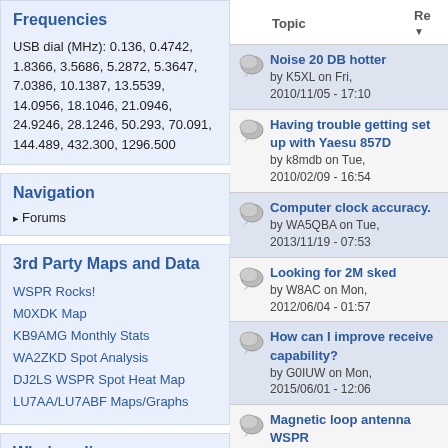Frequencies
USB dial (MHz): 0.136, 0.4742, 1.8366, 3.5686, 5.2872, 5.3647, 7.0386, 10.1387, 13.5539, 14.0956, 18.1046, 21.0946, 24.9246, 28.1246, 50.293, 70.091, 144.489, 432.300, 1296.500
Navigation
Forums
3rd Party Maps and Data
WSPR Rocks!
M0XDK Map
KB9AMG Monthly Stats
WA2ZKD Spot Analysis
DJ2LS WSPR Spot Heat Map
LU7AA/LU7ABF Maps/Graphs
Who's online
| Topic | Re |
| --- | --- |
| Noise 20 DB hotter
by K5XL on Fri, 2010/11/05 - 17:10 |  |
| Having trouble getting set up with Yaesu 857D
by k8mdb on Tue, 2010/02/09 - 16:54 |  |
| Computer clock accuracy.
by WA5QBA on Tue, 2013/11/19 - 07:53 |  |
| Looking for 2M sked
by W8AC on Mon, 2012/06/04 - 01:57 |  |
| How can I improve receive capability?
by G0IUW on Mon, 2015/06/01 - 12:06 |  |
| Magnetic loop antenna WSPR
by AJ8S on Fri, 2013/06/14 - 15:55 |  |